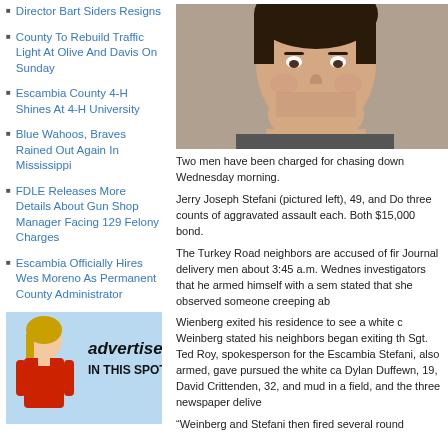Director Bart Siders Resigns
County To Rebuild Traffic Light At Olive And Davis On Sunday
Escambia County 4-H Shines At 4-H University
Blue Wahoos, Braves Rained Out Again In Mississippi
FDLE Releases More Details About Gun Shop Manager Facing 129 Felony Charges
Escambia Officially Hires Wes Moreno As Permanent County Administrator
[Figure (photo): Advertisement banner with woman in red shirt and text 'advertise IN THIS SPOT']
[Figure (photo): Mugshot photo of Jerry Joseph Stefani, 49]
Two men have been charged for chasing down Wednesday morning.
Jerry Joseph Stefani (pictured left), 49, and Do three counts of aggravated assault each. Both $15,000 bond.
The Turkey Road neighbors are accused of fir Journal delivery men about 3:45 a.m. Wednes investigators that he armed himself with a sem stated that she observed someone creeping ab
Wienberg exited his residence to see a white c Weinberg stated his neighbors began exiting th Sgt. Ted Roy, spokesperson for the Escambia Stefani, also armed, gave pursued the white ca Dylan Duffewn, 19, David Crittenden, 32, and mud in a field, and the three newspaper delive
“Weinberg and Stefani then fired several round